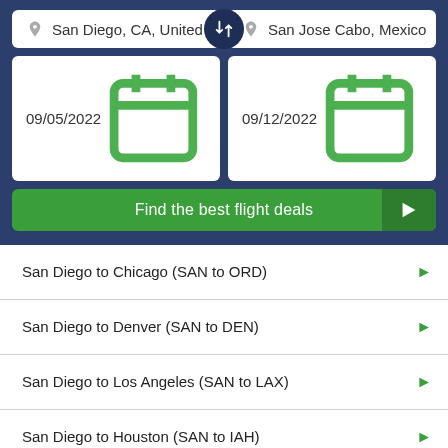San Diego, CA, United S
San Jose Cabo, Mexico
09/05/2022
09/12/2022
Find the best flight deals
San Diego to Chicago (SAN to ORD)
San Diego to Denver (SAN to DEN)
San Diego to Los Angeles (SAN to LAX)
San Diego to Houston (SAN to IAH)
San Diego to New York (SAN to JFK)
San Diego to Atlanta (SAN to ATL)